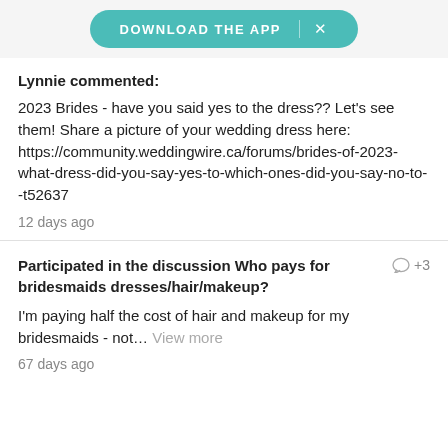[Figure (screenshot): Teal download app banner button with X close button]
Lynnie commented:
2023 Brides - have you said yes to the dress?? Let's see them! Share a picture of your wedding dress here: https://community.weddingwire.ca/forums/brides-of-2023-what-dress-did-you-say-yes-to-which-ones-did-you-say-no-to--t52637
12 days ago
Participated in the discussion Who pays for bridesmaids dresses/hair/makeup?
I'm paying half the cost of hair and makeup for my bridesmaids - not... View more
67 days ago